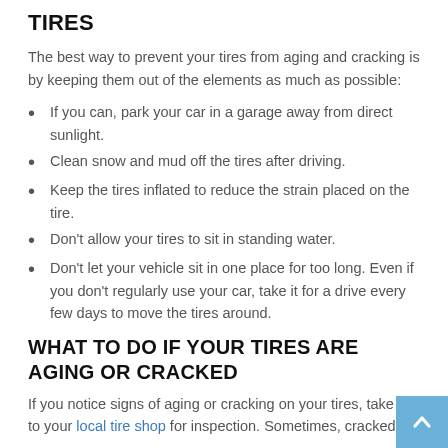TIRES
The best way to prevent your tires from aging and cracking is by keeping them out of the elements as much as possible:
If you can, park your car in a garage away from direct sunlight.
Clean snow and mud off the tires after driving.
Keep the tires inflated to reduce the strain placed on the tire.
Don't allow your tires to sit in standing water.
Don't let your vehicle sit in one place for too long. Even if you don't regularly use your car, take it for a drive every few days to move the tires around.
WHAT TO DO IF YOUR TIRES ARE AGING OR CRACKED
If you notice signs of aging or cracking on your tires, take it to your local tire shop for inspection. Sometimes, cracked